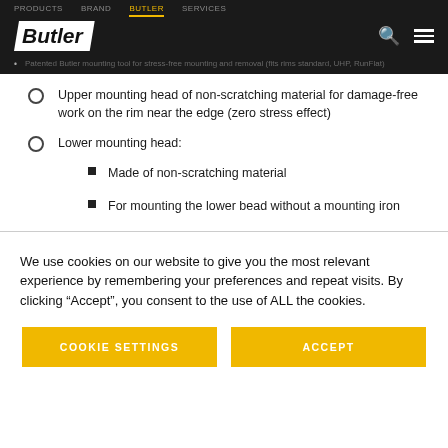Butler navigation bar with logo, search and menu icons
Patented Butler mounting tool for stress-free mounting and removal (fits rims standard, UHP, RunFlat)
Upper mounting head of non-scratching material for damage-free work on the rim near the edge (zero stress effect)
Lower mounting head:
Made of non-scratching material
For mounting the lower bead without a mounting iron
We use cookies on our website to give you the most relevant experience by remembering your preferences and repeat visits. By clicking “Accept”, you consent to the use of ALL the cookies.
COOKIE SETTINGS | ACCEPT